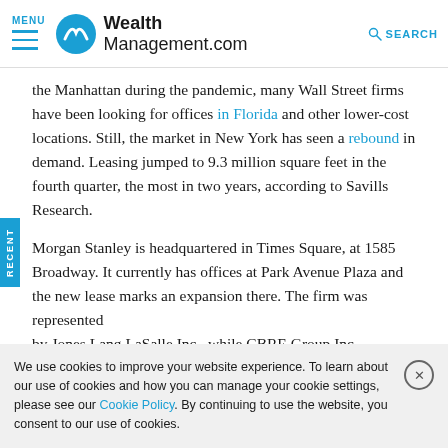MENU | WealthManagement.com | SEARCH
the Manhattan during the pandemic, many Wall Street firms have been looking for offices in Florida and other lower-cost locations. Still, the market in New York has seen a rebound in demand. Leasing jumped to 9.3 million square feet in the fourth quarter, the most in two years, according to Savills Research.
Morgan Stanley is headquartered in Times Square, at 1585 Broadway. It currently has offices at Park Avenue Plaza and the new lease marks an expansion there. The firm was represented by Jones Lang LaSalle Inc., while CBRE Group Inc.
We use cookies to improve your website experience. To learn about our use of cookies and how you can manage your cookie settings, please see our Cookie Policy. By continuing to use the website, you consent to our use of cookies.